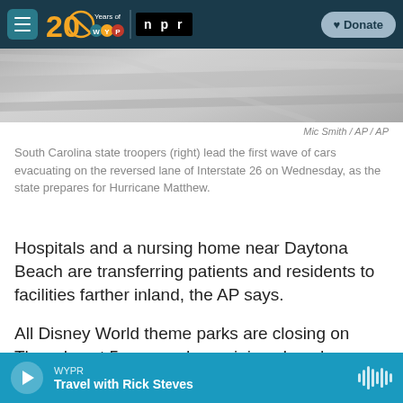WYPR 20 Years of WYPR | npr | Donate
[Figure (photo): A highway with reversed lane traffic, showing cars evacuating. Grey road surface visible.]
Mic Smith / AP / AP
South Carolina state troopers (right) lead the first wave of cars evacuating on the reversed lane of Interstate 26 on Wednesday, as the state prepares for Hurricane Matthew.
Hospitals and a nursing home near Daytona Beach are transferring patients and residents to facilities farther inland, the AP says.
All Disney World theme parks are closing on Thursday at 5 p.m. and remaining closed on Friday, Disney announced.
WYPR — Travel with Rick Steves